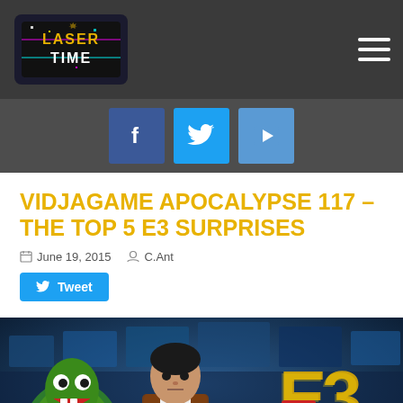[Figure (logo): Laser Time logo in top-left of dark navigation bar]
[Figure (infographic): Social media buttons: Facebook, Twitter, YouTube on dark grey bar]
VIDJAGAME APOCALYPSE 117 – THE TOP 5 E3 SURPRISES
June 19, 2015  C.Ant
Tweet
[Figure (photo): Hero image showing video game characters (Shenmue character, Mario characters, turtle character) overlaid on E3 convention floor background with E3 logo]